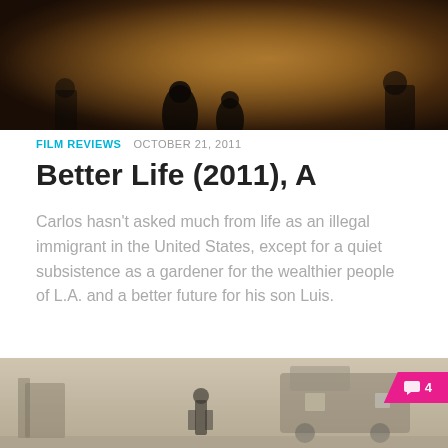[Figure (photo): Dark atmospheric photo showing silhouettes of people against a warm amber/orange lit background]
FILM REVIEWS  OCTOBER 21, 2011
Better Life (2011), A
Carlos hasn't asked much from life as an illegal immigrant in the United States, except for a quiet subsistence as a gardener for the wealthier people of L.A. and a better future for his son Luis.
[Figure (photo): Sepia-toned photo showing a child figure standing in front of large trucks or machinery in a dusty, hazy scene. A pink comment badge showing '4' is overlaid in the top right corner.]